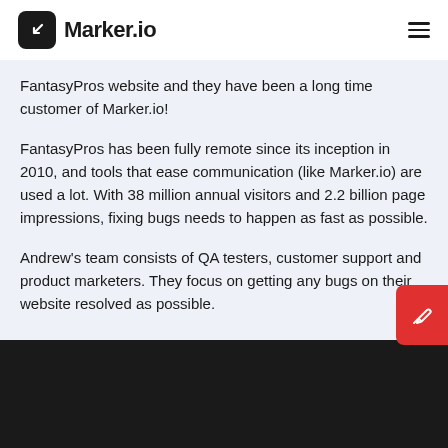Marker.io
FantasyPros website and they have been a long time customer of Marker.io!
FantasyPros has been fully remote since its inception in 2010, and tools that ease communication (like Marker.io) are used a lot. With 38 million annual visitors and 2.2 billion page impressions, fixing bugs needs to happen as fast as possible.
Andrew's team consists of QA testers, customer support and product marketers. They focus on getting any bugs on their website resolved as possible.
[Figure (screenshot): Dark/black area at the bottom of the page representing a video or screenshot preview area]